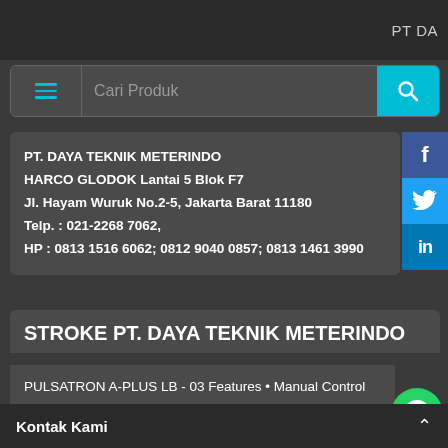PT DA
PT. DAYA TEKNIK METERINDO
HARCO GLODOK Lantai 5 Blok F7
Jl. Hayam Wuruk No.2-5, Jakarta Barat 11180
Telp. : 021-2268 7062,
HP : 0813 1516 6062; 0812 9040 0857; 0813 1461 3990
STROKE PT. DAYA TEKNIK METERINDO
PULSATRON A-PLUS LB - 03 Features • Manual Control by online adjustable stroke rate and stroke length • Highly Reliable timing circuit • Circuit Protection against voltage and current upsets • Solenoit Protection by thermal overload with auto - reset • Water Resistant , for outdoor and indoor applications •
Kontak Kami